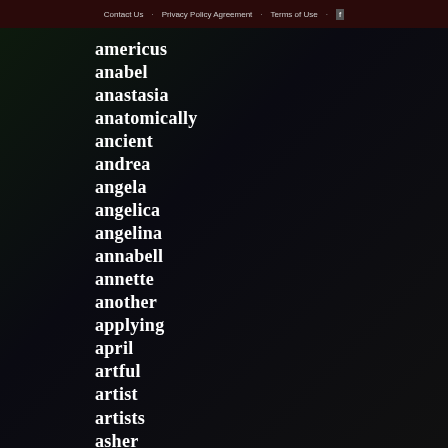Contact Us · Privacy Policy Agreement · Terms of Use
americus
anabel
anastasia
anatomically
ancient
andrea
angela
angelica
angelina
annabell
annette
another
applying
april
artful
artist
artists
asher
ashley
ashton
ashton-drake
asian